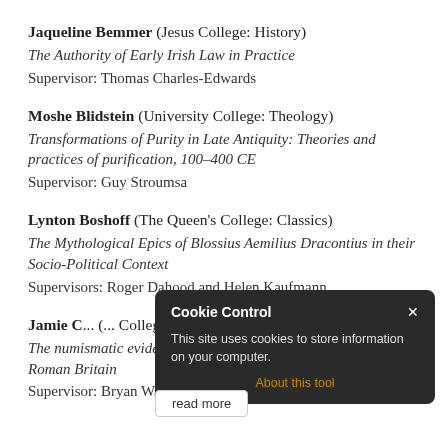Jaqueline Bemmer (Jesus College: History)
The Authority of Early Irish Law in Practice
Supervisor: Thomas Charles-Edwards
Moshe Blidstein (University College: Theology)
Transformations of Purity in Late Antiquity: Theories and practices of purification, 100–400 CE
Supervisor: Guy Stroumsa
Lynton Boshoff (The Queen's College: Classics)
The Mythological Epics of Blossius Aemilius Dracontius in their Socio-Political Context
Supervisors: Roger Dahood and Helen Kaufmann
Jamie C... (... College; History):
The numismatic evidence for centralized government in post-Roman Britain
Supervisor: Bryan Ward-Perkins